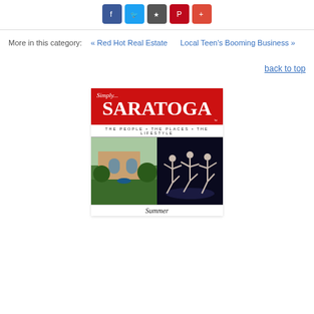[Figure (other): Social media sharing icons: Facebook (blue), Twitter (light blue), Bookmark (gray), Pinterest (red), Google+ (orange-red)]
More in this category:   « Red Hot Real Estate   Local Teen's Booming Business »
back to top
[Figure (illustration): Simply Saratoga magazine cover with red header, large SARATOGA text, tagline 'THE PEOPLE • THE PLACES • THE LIFESTYLE', and cover images showing a building exterior and ballet dancers, with 'Summer' text at bottom]